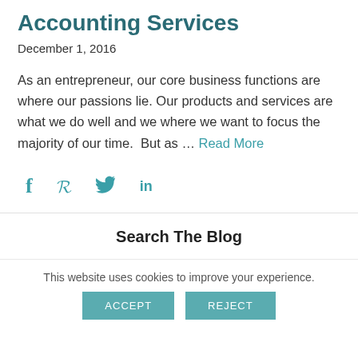Accounting Services
December 1, 2016
As an entrepreneur, our core business functions are where our passions lie. Our products and services are what we do well and we where we want to focus the majority of our time.  But as … Read More
[Figure (infographic): Social media share icons: Facebook (f), Pinterest (P), Twitter (bird), LinkedIn (in)]
Search The Blog
This website uses cookies to improve your experience.
ACCEPT   REJECT